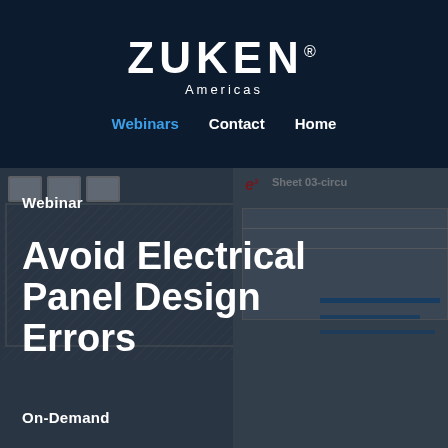[Figure (logo): Zuken Americas logo in white text on dark navy background]
Webinars  Contact  Home
[Figure (screenshot): Background screenshot of Zuken E3 electrical panel design software showing circuit sheet diagrams]
Webinar
Avoid Electrical Panel Design Errors
On-Demand